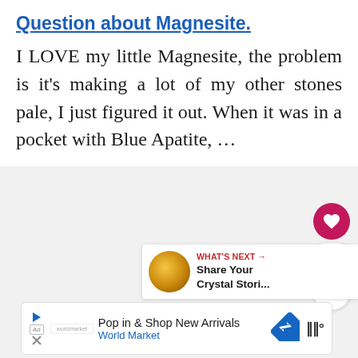Question about Magnesite.
I LOVE my little Magnesite, the problem is it's making a lot of my other stones pale, I just figured it out. When it was in a pocket with Blue Apatite, …
[Figure (infographic): Heart/like button (pink circle with heart icon), count of 1, and share button (white circle with share icon) on right side]
[Figure (infographic): What's Next panel with thumbnail image of crystal and text 'WHAT'S NEXT → Share Your Crystal Stori...']
[Figure (infographic): Advertisement bar: Pop in & Shop New Arrivals, World Market, with navigation arrow icon and brand logo]